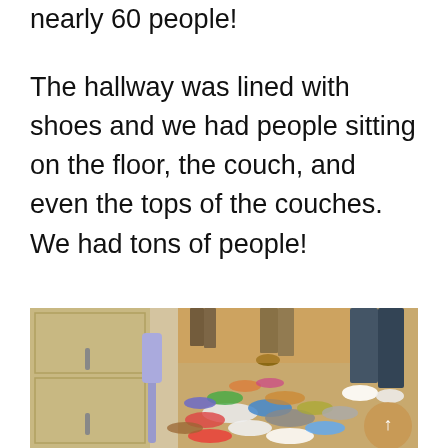nearly 60 people!
The hallway was lined with shoes and we had people sitting on the floor, the couch, and even the tops of the couches. We had tons of people!
[Figure (photo): A hallway floor covered with a large pile of mixed shoes and sneakers scattered everywhere, with people's legs visible standing in the background on a wooden floor, and a purple umbrella leaning against the wall on the left side.]